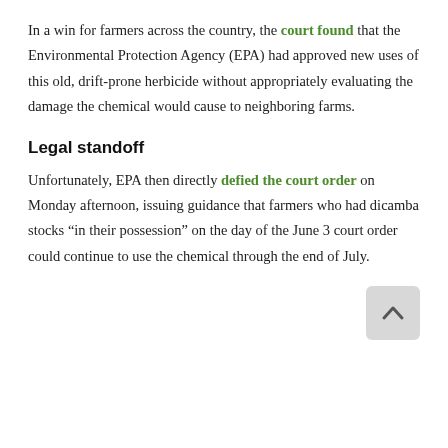In a win for farmers across the country, the court found that the Environmental Protection Agency (EPA) had approved new uses of this old, drift-prone herbicide without appropriately evaluating the damage the chemical would cause to neighboring farms.
Legal standoff
Unfortunately, EPA then directly defied the court order on Monday afternoon, issuing guidance that farmers who had dicamba stocks “in their possession” on the day of the June 3 court order could continue to use the chemical through the end of July.